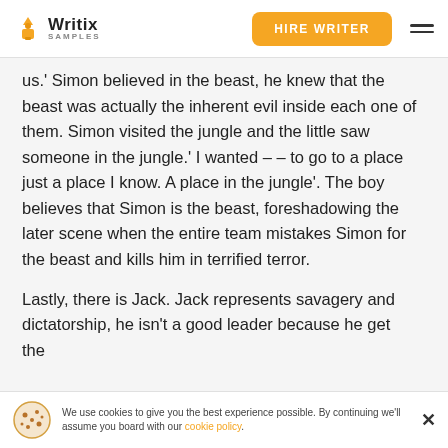Writix SAMPLES | HIRE WRITER
us.' Simon believed in the beast, he knew that the beast was actually the inherent evil inside each one of them. Simon visited the jungle and the little saw someone in the jungle.' I wanted – – to go to a place just a place I know. A place in the jungle'. The boy believes that Simon is the beast, foreshadowing the later scene when the entire team mistakes Simon for the beast and kills him in terrified terror.
Lastly, there is Jack. Jack represents savagery and dictatorship, he isn't a good leader because he gets the
We use cookies to give you the best experience possible. By continuing we'll assume you board with our cookie policy.